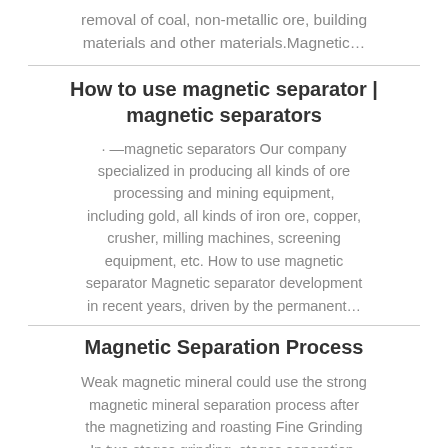removal of coal, non-metallic ore, building materials and other materials.Magnetic…
How to use magnetic separator | magnetic separators
· —magnetic separators Our company specialized in producing all kinds of ore processing and mining equipment, including gold, all kinds of iron ore, copper, crusher, milling machines, screening equipment, etc. How to use magnetic separator Magnetic separator development in recent years, driven by the permanent…
Magnetic Separation Process
Weak magnetic mineral could use the strong magnetic mineral separation process after the magnetizing and roasting Fine Grinding In two stages grinding, stages separation, single weak magnetic flow, fine grinding …